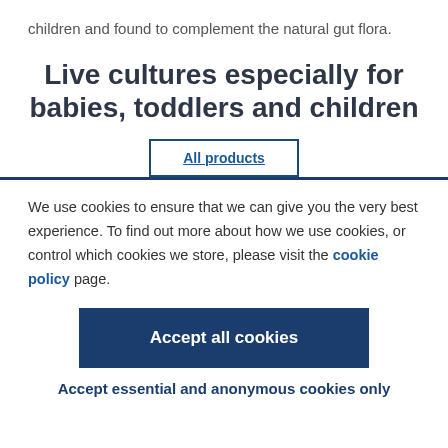children and found to complement the natural gut flora.
Live cultures especially for babies, toddlers and children
All products
We use cookies to ensure that we can give you the very best experience. To find out more about how we use cookies, or control which cookies we store, please visit the cookie policy page.
Accept all cookies
Accept essential and anonymous cookies only